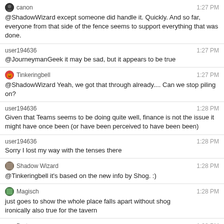canon 1:27 PM
@ShadowWizard except someone did handle it. Quickly. And so far, everyone from that side of the fence seems to support everything that was done.
user194636 1:27 PM
@JourneymanGeek it may be sad, but it appears to be true
Tinkeringbell 1:27 PM
@ShadowWizard Yeah, we got that through already.... Can we stop piling on?
user194636 1:28 PM
Given that Teams seems to be doing quite well, finance is not the issue it might have once been (or have been perceived to have been been)
user194636 1:28 PM
Sorry I lost my way with the tenses there
Shadow Wizard 1:28 PM
@Tinkeringbell it's based on the new info by Shog. :)
Magisch 1:28 PM
just goes to show the whole place falls apart without shog
ironically also true for the tavern
Bart 1:28 PM
People and other entities ... it seems we're going in circles in this room. Or waves. Or other shapes. Maybe we should give all this a rest. Get a fresh perspective at some point, and just wait and see what happens? Just a suggestion.